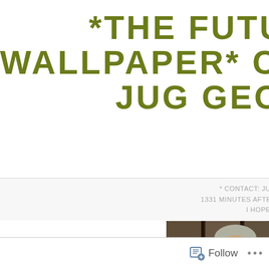*THE FUTURE WALLPAPER* CHRI JUG GEORG
* CONTACT: JUG.GEORGE@GMAL 1331 MINUTES AFTER THEY NEVER ME I HOPE YOU LAUGH FORE
[Figure (photo): Vintage photo of an older person with short gray hair and glasses, making a wide-eyed surprised expression, seated in what appears to be a classroom or office with cubicle-style partitions in background]
Follow ...